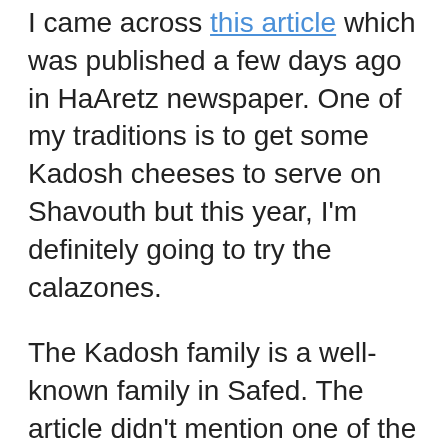I came across this article which was published a few days ago in HaAretz newspaper. One of my traditions is to get some Kadosh cheeses to serve on Shavouth but this year, I'm definitely going to try the calazones.
The Kadosh family is a well-known family in Safed. The article didn't mention one of the most interesting things about the family -- that the patriarch walked to Safed from Iraq (I think....maybe it was from Morocco?) in the early 20th century and then set up his dairy.
Other items planned for my menu include stuffed mushrooms